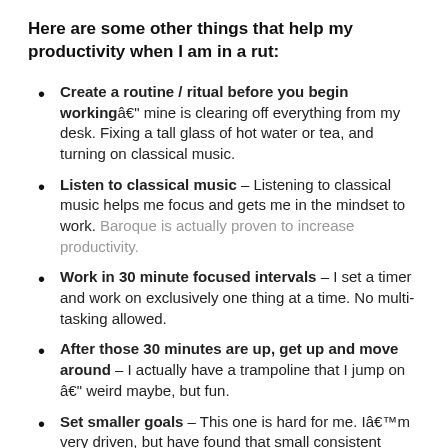Here are some other things that help my productivity when I am in a rut:
Create a routine / ritual before you begin workingâ€“ mine is clearing off everything from my desk. Fixing a tall glass of hot water or tea, and turning on classical music.
Listen to classical music – Listening to classical music helps me focus and gets me in the mindset to work. Baroque is actually proven to increase productivity.
Work in 30 minute focused intervals – I set a timer and work on exclusively one thing at a time. No multi-tasking allowed.
After those 30 minutes are up, get up and move around – I actually have a trampoline that I jump on â€“ weird maybe, but fun.
Set smaller goals – This one is hard for me. Iâ€™m very driven, but have found that small consistent steps versus inconsistent grand sweeping ones